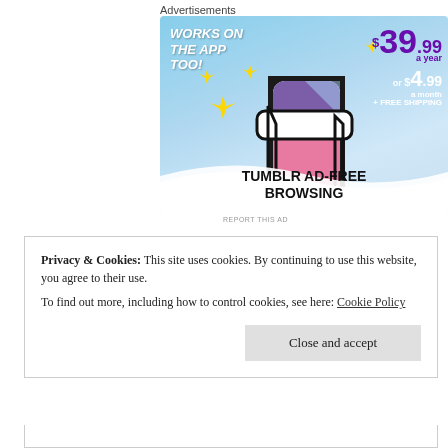Advertisements
[Figure (illustration): Tumblr Ad-Free Browsing advertisement showing the Tumblr 't' logo in pink/purple/white with yellow sparkles on a light blue sky background. Text: WORKS ON THE APP TOO!, $39.99 a year or $4.99 a month + FREE SHIPPING, TUMBLR AD-FREE BROWSING]
REPORT THIS AD
Privacy & Cookies: This site uses cookies. By continuing to use this website, you agree to their use.
To find out more, including how to control cookies, see here: Cookie Policy
[Close and accept button]